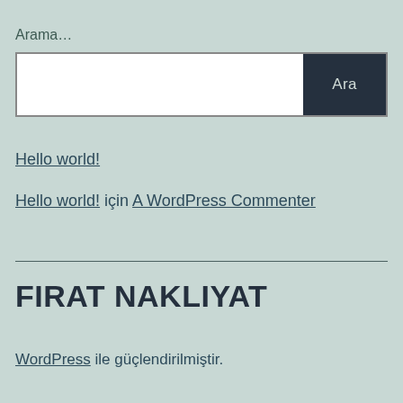Arama…
[Figure (other): Search bar with text input field and a dark 'Ara' button]
Hello world!
Hello world! için A WordPress Commenter
FIRAT NAKLIYAT
WordPress ile güçlendirilmiştir.